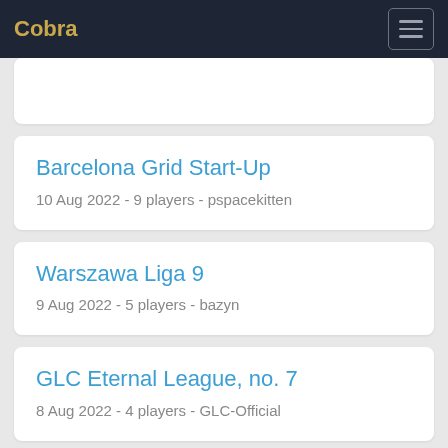Cobra
Barcelona Grid Start-Up
10 Aug 2022 - 9 players - pspacekitten
Warszawa Liga 9
9 Aug 2022 - 5 players - bazyn
GLC Eternal League, no. 7
8 Aug 2022 - 4 players - GLC-Official